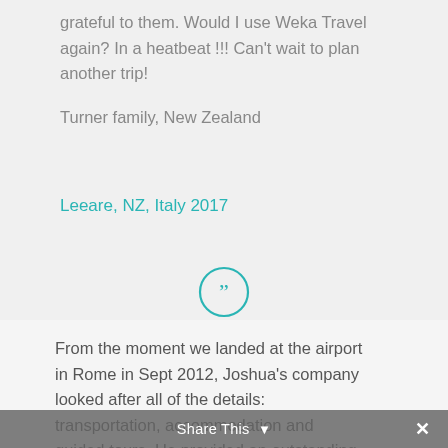grateful to them. Would I use Weka Travel again? In a heatbeat !!! Can't wait to plan another trip!
Turner family, New Zealand
Leeare, NZ, Italy 2017
[Figure (illustration): Teal circle with closing double quotation marks icon]
From the moment we landed at the airport in Rome in Sept 2012, Joshua's company looked after all of the details: transportation, accommodation and guided tours. He provided an outstanding service in all of these categories. His services far exceeded our expectations
Share This ✕